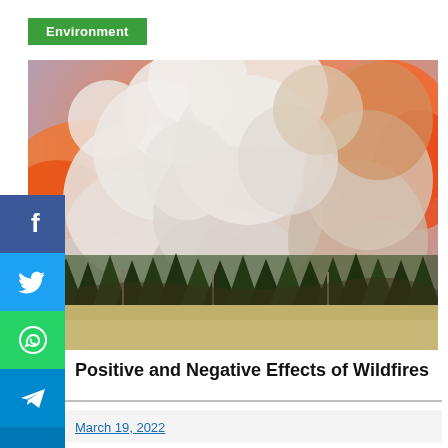Environment
[Figure (photo): A dramatic wildfire scene showing massive white and grey smoke billowing upward with orange flames visible, over a forested hillside with conifer trees in the foreground under a hazy orange and grey sky.]
Positive and Negative Effects of Wildfires
March 19, 2022